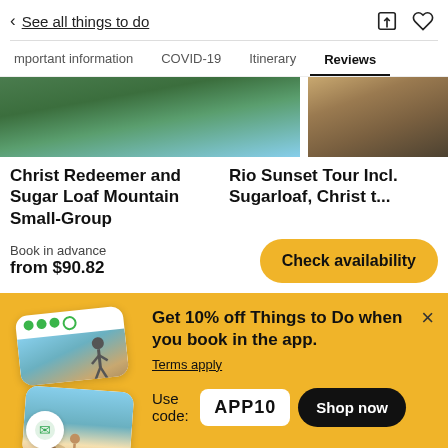< See all things to do
Important information  COVID-19  Itinerary  Reviews
[Figure (photo): Two travel photos side by side: green mountain/nature scene on the left and a rocky coastal sunset scene on the right]
Christ Redeemer and Sugar Loaf Mountain Small-Group
Rio Sunset Tour Incl. Sugarloaf, Christ t...
Book in advance
from $90.82
Check availability
[Figure (infographic): Promotional app banner with stacked photo cards showing a hiker and beachgoers, a TripAdvisor-style owl badge, and text advertising 10% off Things to Do when booking in the app with code APP10]
Get 10% off Things to Do when you book in the app.
Terms apply
Use code: APP10
Shop now